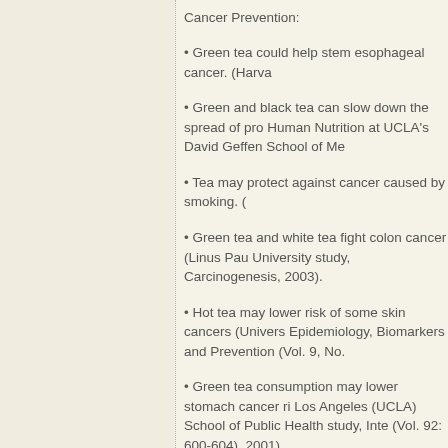Cancer Prevention:
• Green tea could help stem esophageal cancer. (Harva
• Green and black tea can slow down the spread of pro Human Nutrition at UCLA's David Geffen School of Me
• Tea may protect against cancer caused by smoking. (
• Green tea and white tea fight colon cancer (Linus Pau University study, Carcinogenesis, 2003).
• Hot tea may lower risk of some skin cancers (Univers Epidemiology, Biomarkers and Prevention (Vol. 9, No.
• Green tea consumption may lower stomach cancer ri Los Angeles (UCLA) School of Public Health study, Inte (Vol. 92: 600-604), 2001).
Hypertension-Reducing Benefits:
• Green and oolong teas reduce risk of hypertension (N University study, Archives of Internal Medicine, 2004).
Immunity-Boosting Benefits